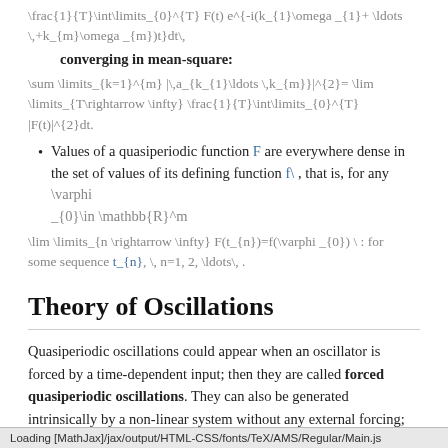\frac{1}{T}\int\limits_{0}^{T} F(t) e^{-i(k_{1}\omega _{1}+ \ldots \,+k_{m}\omega _{m})t}dt\,
converging in mean-square:
\sum \limits_{k=1}^{m} |\,a_{k_{1}\ldots \,k_{m}}|^{2}= \lim \limits_{T\rightarrow \infty} \frac{1}{T}\int\limits_{0}^{T} |F(t)|^{2}dt.
Values of a quasiperiodic function F are everywhere dense in the set of values of its defining function f\, , that is, for any \varphi _{0}\in \mathbb{R}^m
\lim \limits_{n \rightarrow \infty} F(t_{n})=f(\varphi _{0}) \, : for some sequence t_{n}, \, n=1, 2, \ldots\, .
Theory of Oscillations
Quasiperiodic oscillations could appear when an oscillator is forced by a time-dependent input; then they are called forced quasiperiodic oscillations. They can also be generated intrinsically by a non-linear system without any external forcing; they are often called quasiperiodic auto-oscillations in this case. The frequency basis is...
Loading [MathJax]/jax/output/HTML-CSS/fonts/TeX/AMS/Regular/Main.js